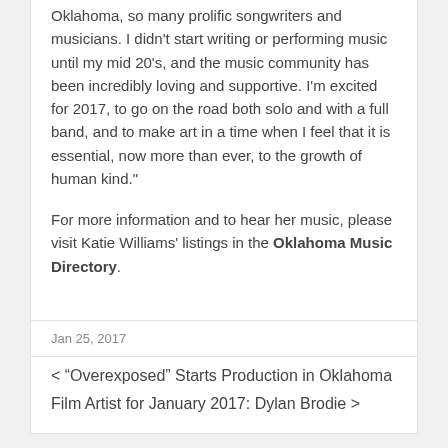Oklahoma, so many prolific songwriters and musicians. I didn't start writing or performing music until my mid 20's, and the music community has been incredibly loving and supportive. I'm excited for 2017, to go on the road both solo and with a full band, and to make art in a time when I feel that it is essential, now more than ever, to the growth of human kind."
For more information and to hear her music, please visit Katie Williams' listings in the Oklahoma Music Directory.
Jan 25, 2017
< “Overexposed” Starts Production in Oklahoma
Film Artist for January 2017: Dylan Brodie >
GET CONNECTED!
Email *